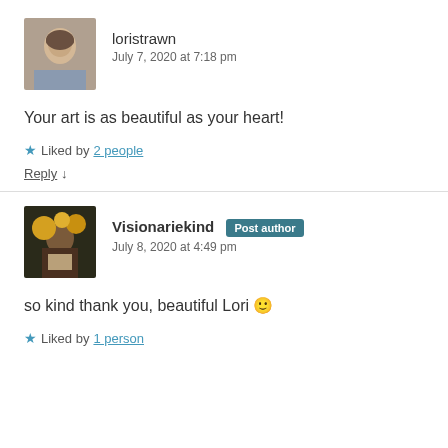[Figure (photo): Avatar photo of loristrawn, a person with short hair]
loristrawn
July 7, 2020 at 7:18 pm
Your art is as beautiful as your heart!
★ Liked by 2 people
Reply ↓
[Figure (photo): Avatar photo of Visionariekind, a person with sunflowers]
Visionariekind [Post author]
July 8, 2020 at 4:49 pm
so kind thank you, beautiful Lori 🙂
★ Liked by 1 person